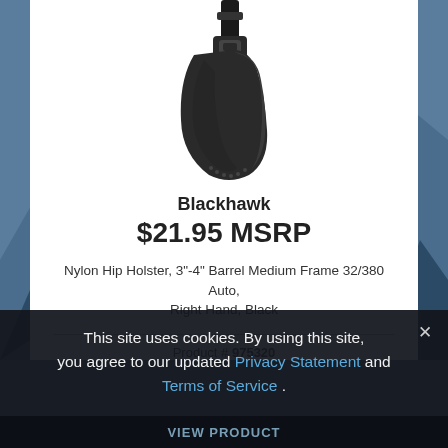[Figure (photo): Black nylon hip holster product photo on white background]
Blackhawk
$21.95 MSRP
Nylon Hip Holster, 3"-4" Barrel Medium Frame 32/380 Auto, Right Hand, Black
Product # 975320
This site uses cookies. By using this site, you agree to our updated Privacy Statement and Terms of Service .